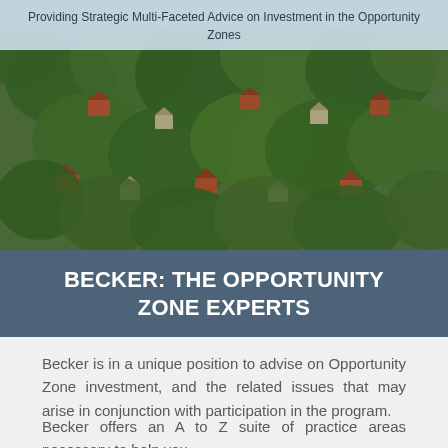Providing Strategic Multi-Faceted Advice on Investment in the Opportunity Zones
[Figure (photo): Aerial photograph of a suburban neighborhood with houses among dense green trees, viewed from above. Red-roofed houses visible among the canopy.]
BECKER: THE OPPORTUNITY ZONE EXPERTS
Becker is in a unique position to advise on Opportunity Zone investment, and the related issues that may arise in conjunction with participation in the program.
Becker offers an A to Z suite of practice areas necessary to help you...